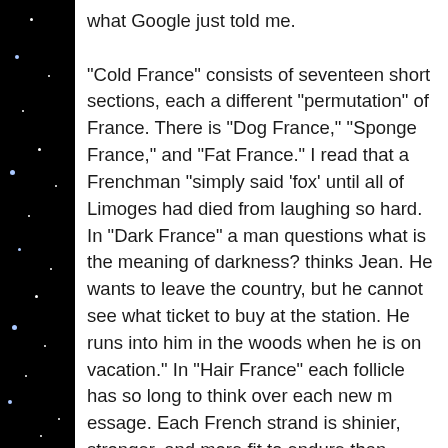what Google just told me.

“Cold France” consists of seventeen short sections, each a different “permutation” of France. There is “Dog F[rance,]” “[Slug] France,” “Sponge France,” and “Fat France.” I read t[hat a] Frenchman “simply said ‘fox’ until all of Limoges h[ad died] from laughing so hard. In “Dark France” a man que[stions what] is the meaning of darkness? thinks Jean. He wants [to leave the] country, but he cannot see what ticket to buy at t[he station. He runs] into him in the woods when he is on vacation.” In “[Hair France]” each follicle has so long to think over each new m[essage. Each] French strand is shinier, stronger, and more fit to e[ndure than] other, foreign hairs. So when you get it in the mail[...] Whatever you do, don’t cut your French hair.”
READ MORE >
Random / 11 Comments